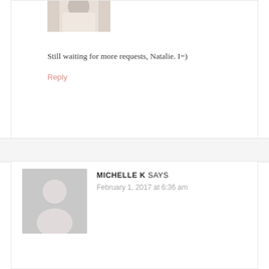[Figure (photo): Partial avatar photo of a person at top left]
Still waiting for more requests, Natalie. I=)
Reply
[Figure (photo): Grey placeholder avatar silhouette for Michelle K]
MICHELLE K SAYS
February 1, 2017 at 6:36 am